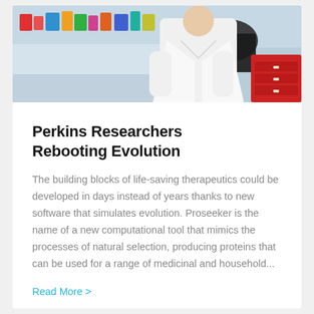[Figure (photo): Laboratory scene with a researcher in a white coat standing near lab equipment, shelves with colorful supplies in the background]
Perkins Researchers Rebooting Evolution
The building blocks of life-saving therapeutics could be developed in days instead of years thanks to new software that simulates evolution. Proseeker is the name of a new computational tool that mimics the processes of natural selection, producing proteins that can be used for a range of medicinal and household...
Read More >